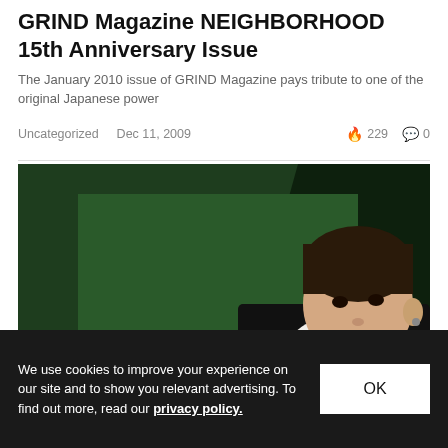GRIND Magazine NEIGHBORHOOD 15th Anniversary Issue
The January 2010 issue of GRIND Magazine pays tribute to one of the original Japanese power
Uncategorized   Dec 11, 2009   🔥 229   💬 0
[Figure (photo): Young man in a white and black jacket posed against a green background, with another person partially visible in the foreground.]
We use cookies to improve your experience on our site and to show you relevant advertising. To find out more, read our privacy policy.